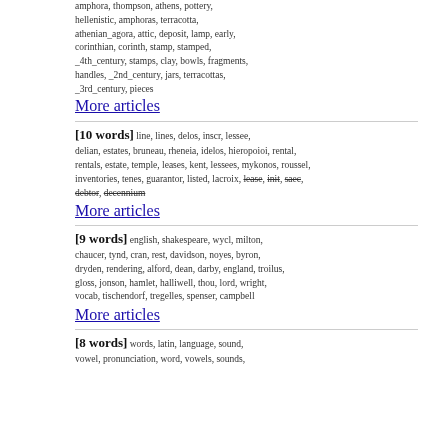amphora, thompson, athens, pottery, hellenistic, amphoras, terracotta, athenian_agora, attic, deposit, lamp, early, corinthian, corinth, stamp, stamped, _4th_century, stamps, clay, bowls, fragments, handles, _2nd_century, jars, terracottas, _3rd_century, pieces
More articles
[10 words] line, lines, delos, inscr, lessee, delian, estates, bruneau, rheneia, idelos, hieropoioi, rental, rentals, estate, temple, leases, kent, lessees, mykonos, roussel, inventories, tenes, guarantor, listed, lacroix, lease, init, saec, debtor, decennium
More articles
[9 words] english, shakespeare, wycl, milton, chaucer, tynd, cran, rest, davidson, noyes, byron, dryden, rendering, alford, dean, darby, england, troilus, gloss, jonson, hamlet, halliwell, thou, lord, wright, vocab, tischendorf, tregelles, spenser, campbell
More articles
[8 words] words, latin, language, sound, vowel, pronunciation, word, vowels, sounds,